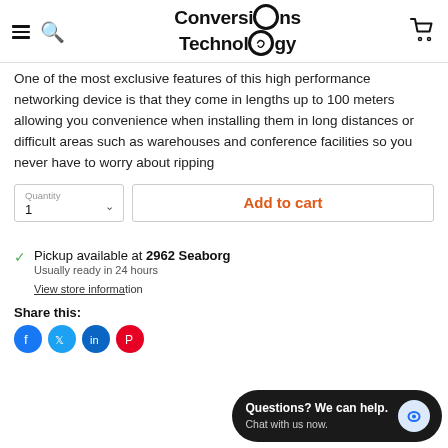Conversions Technology
One of the most exclusive features of this high performance networking device is that they come in lengths up to 100 meters allowing you convenience when installing them in long distances or difficult areas such as warehouses and conference facilities so you never have to worry about ripping
Quantity 1 | Add to cart
Pickup available at 2962 Seaborg
Usually ready in 24 hours
View store information
Share this:
Questions? We can help.
Chat with us now.